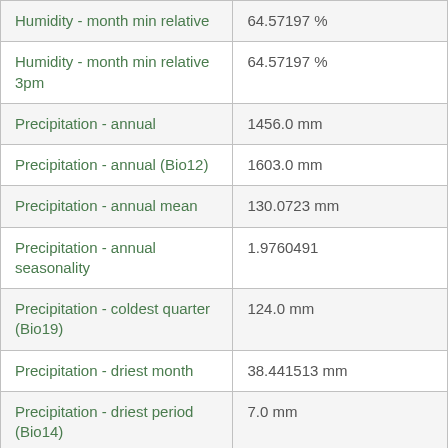| Parameter | Value |
| --- | --- |
| Humidity - month min relative | 64.57197 % |
| Humidity - month min relative 3pm | 64.57197 % |
| Precipitation - annual | 1456.0 mm |
| Precipitation - annual (Bio12) | 1603.0 mm |
| Precipitation - annual mean | 130.0723 mm |
| Precipitation - annual seasonality | 1.9760491 |
| Precipitation - coldest quarter (Bio19) | 124.0 mm |
| Precipitation - driest month | 38.441513 mm |
| Precipitation - driest period (Bio14) | 7.0 mm |
| Precipitation - driest quarter (Bio17) | 101.0 mm |
| Precipitation - equinox seasonality ratio | 0.30168954 |